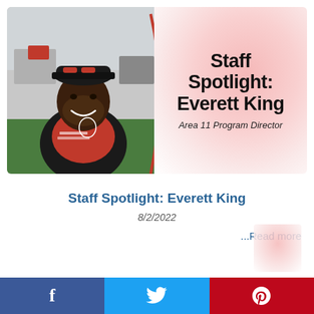[Figure (photo): Photo of Everett King, a smiling man wearing a red t-shirt and black jacket with sunglasses on his cap, outdoors at an event.]
Staff Spotlight: Everett King
Area 11 Program Director
Staff Spotlight: Everett King
8/2/2022
...Read more